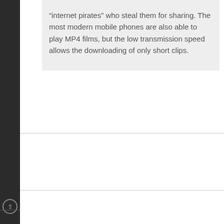“internet pirates” who steal them for sharing. The most modern mobile phones are also able to play MP4 films, but the low transmission speed allows the downloading of only short clips.